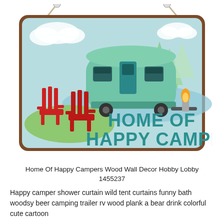[Figure (illustration): A rectangular wooden hanging sign with rounded corners and brown edges. The sign has a light blue background with cartoon camping scene: a green retro camper trailer, two red Adirondack chairs, green trees, clouds, a campfire with orange flame, a blue lake. Text on sign reads 'HOME OF HAPPY CAMPERS' in teal bold letters. A rope hanger is visible at the top.]
Home Of Happy Campers Wood Wall Decor Hobby Lobby 1455237
Happy camper shower curtain wild tent curtains funny bath woodsy beer camping trailer rv wood plank a bear drink colorful cute cartoon